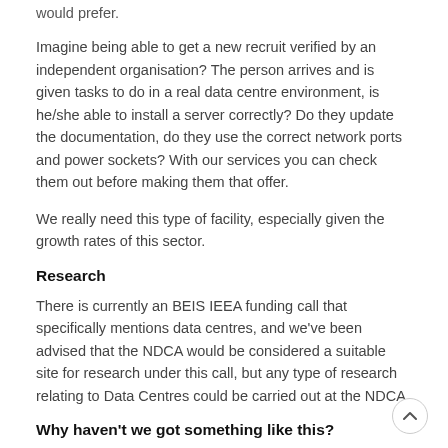would prefer.
Imagine being able to get a new recruit verified by an independent organisation? The person arrives and is given tasks to do in a real data centre environment, is he/she able to install a server correctly? Do they update the documentation, do they use the correct network ports and power sockets? With our services you can check them out before making them that offer.
We really need this type of facility, especially given the growth rates of this sector.
Research
There is currently an BEIS IEEA funding call that specifically mentions data centres, and we've been advised that the NDCA would be considered a suitable site for research under this call, but any type of research relating to Data Centres could be carried out at the NDCA.
Why haven't we got something like this?